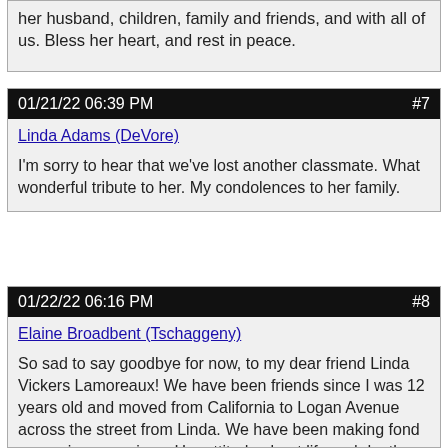her husband, children, family and friends, and with all of us. Bless her heart, and rest in peace.
01/21/22 06:39 PM #7
Linda Adams (DeVore)
I'm sorry to hear that we've lost another classmate. What wonderful tribute to her. My condolences to her family.
01/22/22 06:16 PM #8
Elaine Broadbent (Tschaggeny)
So sad to say goodbye for now, to my dear friend Linda Vickers Lamoreaux! We have been friends since I was 12 years old and moved from California to Logan Avenue across the street from Linda. We have been making fond memories ever since. Her attitude about life and death was just amazing. Even